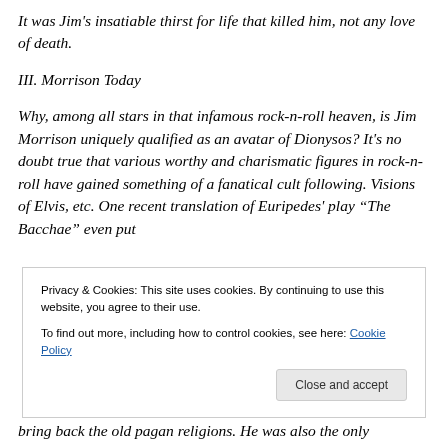It was Jim's insatiable thirst for life that killed him, not any love of death.
III. Morrison Today
Why, among all stars in that infamous rock-n-roll heaven, is Jim Morrison uniquely qualified as an avatar of Dionysos? It's no doubt true that various worthy and charismatic figures in rock-n-roll have gained something of a fanatical cult following. Visions of Elvis, etc. One recent translation of Euripedes' play “The Bacchae” even put
Privacy & Cookies: This site uses cookies. By continuing to use this website, you agree to their use.
To find out more, including how to control cookies, see here: Cookie Policy
bring back the old pagan religions. He was also the only